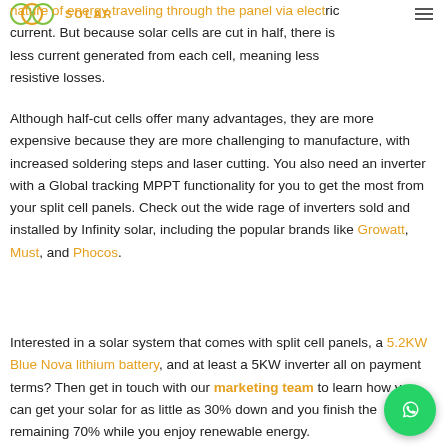INFINITY SOLAR [logo + hamburger menu]
nature of energy traveling through the panel via electric current. But because solar cells are cut in half, there is less current generated from each cell, meaning less resistive losses.
Although half-cut cells offer many advantages, they are more expensive because they are more challenging to manufacture, with increased soldering steps and laser cutting. You also need an inverter with a Global tracking MPPT functionality for you to get the most from your split cell panels. Check out the wide rage of inverters sold and installed by Infinity solar, including the popular brands like Growatt, Must, and Phocos.
Interested in a solar system that comes with split cell panels, a 5.2KW Blue Nova lithium battery, and at least a 5KW inverter all on payment terms? Then get in touch with our marketing team to learn how you can get your solar for as little as 30% down and you finish the remaining 70% while you enjoy renewable energy.